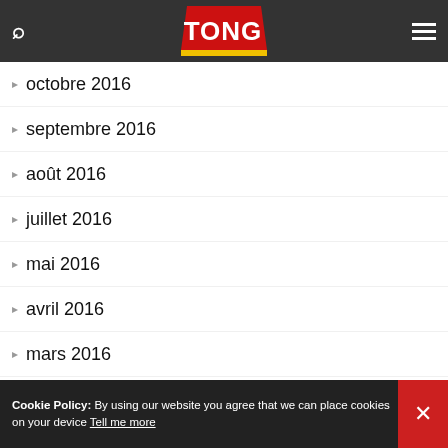TONG
octobre 2016
septembre 2016
août 2016
juillet 2016
mai 2016
avril 2016
mars 2016
janvier 2016
décembre 2015
novembre 2015
Cookie Policy: By using our website you agree that we can place cookies on your device Tell me more